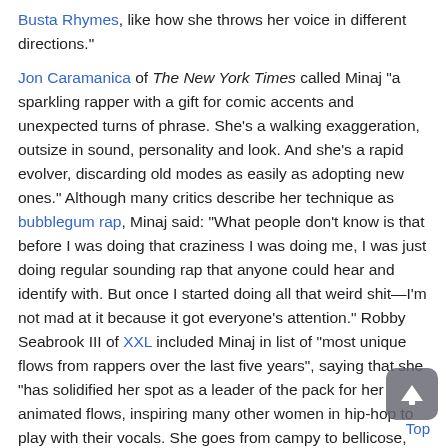Busta Rhymes, like how she throws her voice in different directions."
Jon Caramanica of The New York Times called Minaj "a sparkling rapper with a gift for comic accents and unexpected turns of phrase. She's a walking exaggeration, outsize in sound, personality and look. And she's a rapid evolver, discarding old modes as easily as adopting new ones." Although many critics describe her technique as bubblegum rap, Minaj said: "What people don't know is that before I was doing that craziness I was doing me, I was just doing regular sounding rap that anyone could hear and identify with. But once I started doing all that weird shit—I'm not mad at it because it got everyone's attention." Robby Seabrook III of XXL included Minaj in list of "most unique flows from rappers over the last five years", saying that she "has solidified her spot as a leader of the pack for her animated flows, inspiring many other women in hip-hop to play with their vocals. She goes from campy to bellicose, excited to eccentric, oftentimes all on one song."